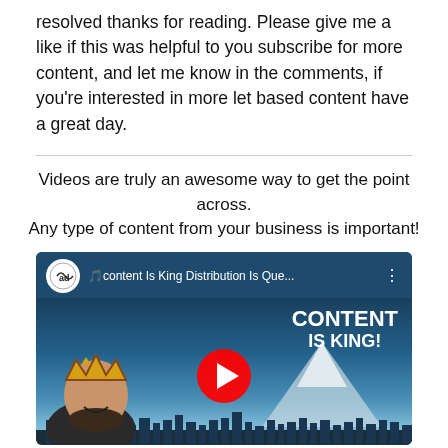resolved thanks for reading. Please give me a like if this was helpful to you subscribe for more content, and let me know in the comments, if you're interested in more let based content have a great day.
Videos are truly an awesome way to get the point across. Any type of content from your business is important!
[Figure (screenshot): YouTube video thumbnail showing a man with a crown, Seattle skyline in background, text 'CONTENT IS KING!' overlaid. Video title: 'content Is King Distribution Is Que...']